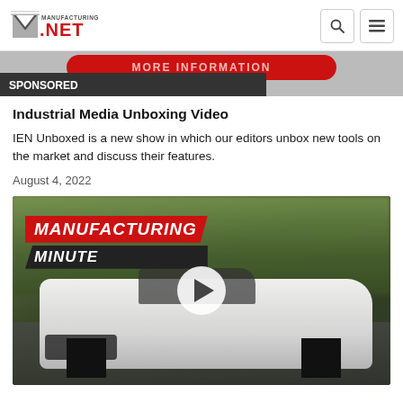Manufacturing.net
[Figure (screenshot): Red promotional banner partially visible with text 'MORE INFORMATION' and SPONSORED label below on dark background]
Industrial Media Unboxing Video
IEN Unboxed is a new show in which our editors unbox new tools on the market and discuss their features.
August 4, 2022
[Figure (screenshot): Video thumbnail showing a white Dodge Challenger muscle car driving on a road with blurred trees in background. Overlay text reads 'MANUFACTURING MINUTE' in red and black banner. A white circular play button is centered on the image.]